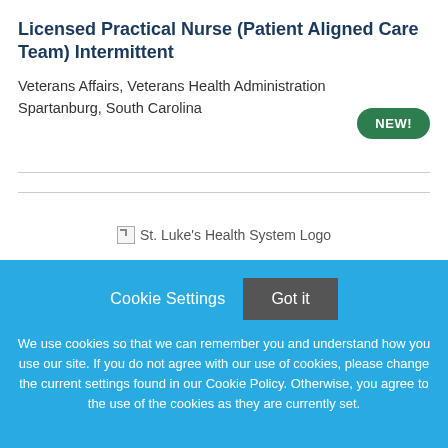Licensed Practical Nurse (Patient Aligned Care Team) Intermittent
Veterans Affairs, Veterans Health Administration
Spartanburg, South Carolina
NEW!
[Figure (logo): St. Luke's Health System Logo (broken image)]
Cookie Settings   Got it

We use cookies so that we can remember you and understand how you use our site. If you do not agree with our use of cookies, please change the current settings found in our Cookie Policy. Otherwise, you agree to the use of the cookies as they are currently set.